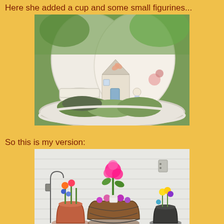Here she added a cup and some small figurines...
[Figure (photo): A large white bowl/plate planter filled with small herbs and succulents, decorated with vintage ceramic plates, a teacup, small cottage figurine, and small animal figurines arranged as a fairy garden.]
So this is my version:
[Figure (photo): Three potted flower arrangements on a white siding ledge: a small terracotta pot with colorful flowers and a decorative shepherd's hook, a central wire hanging basket with bright pink geraniums and mixed flowers, and a small dark pot with yellow and purple flowers on the right.]